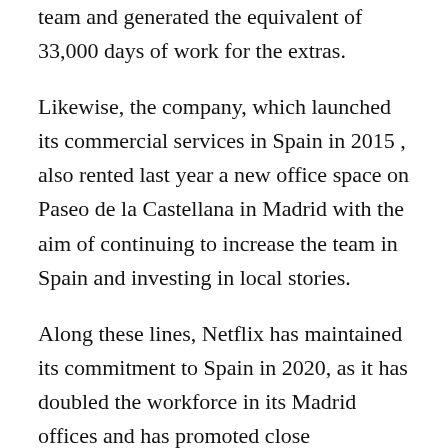team and generated the equivalent of 33,000 days of work for the extras.
Likewise, the company, which launched its commercial services in Spain in 2015 , also rented last year a new office space on Paseo de la Castellana in Madrid with the aim of continuing to increase the team in Spain and investing in local stories.
Along these lines, Netflix has maintained its commitment to Spain in 2020, as it has doubled the workforce in its Madrid offices and has promoted close collaboration with organizations such as CIMA and FAD to contribute to the “sustainable and diverse” development of the sector .